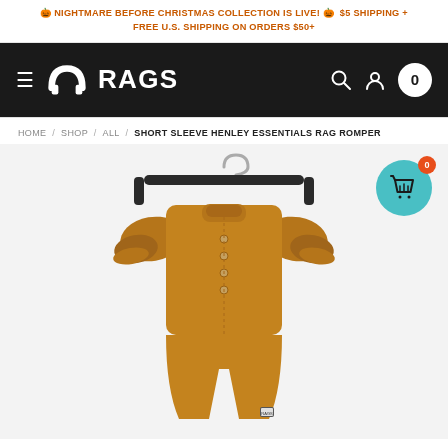🎃 NIGHTMARE BEFORE CHRISTMAS COLLECTION IS LIVE! 🎃 $5 SHIPPING + FREE U.S. SHIPPING ON ORDERS $50+
[Figure (logo): RAGS brand logo with hamburger menu icon on dark background, with search, user, and cart icons on the right]
HOME / SHOP / ALL / SHORT SLEEVE HENLEY ESSENTIALS RAG ROMPER
[Figure (photo): A brown/caramel short sleeve henley romper hanging on a black hanger against a white/light gray background]